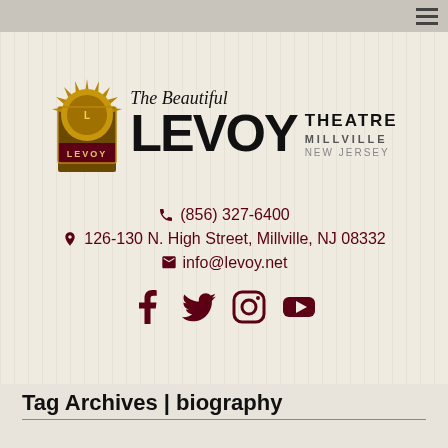[Figure (logo): The Beautiful Levoy Theatre Millville New Jersey logo with sunburst emblem and text]
(856) 327-6400
126-130 N. High Street, Millville, NJ 08332
info@levoy.net
[Figure (illustration): Social media icons: Facebook, Twitter, Instagram, YouTube]
Tag Archives | biography